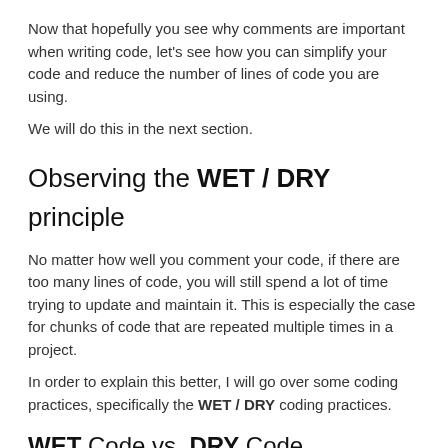Now that hopefully you see why comments are important when writing code, let's see how you can simplify your code and reduce the number of lines of code you are using.
We will do this in the next section.
Observing the WET / DRY principle
No matter how well you comment your code, if there are too many lines of code, you will still spend a lot of time trying to update and maintain it. This is especially the case for chunks of code that are repeated multiple times in a project.
In order to explain this better, I will go over some coding practices, specifically the WET / DRY coding practices.
WET Code vs. DRY Code
As you most likely already guessed, WET and DRY are accronyms:
DRY stands for Don't repeat yourself.